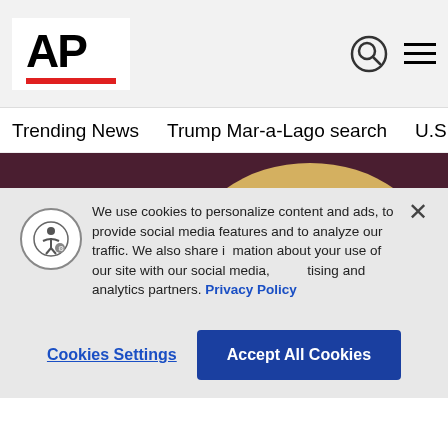AP
Trending News
Trump Mar-a-Lago search
U.S. Open Tennis
[Figure (photo): Close-up photo of a smiling blonde woman at an Amazon Prime event, with a purple/maroon background showing the Prime logo partially visible]
We use cookies to personalize content and ads, to provide social media features and to analyze our traffic. We also share information about your use of our site with our social media, advertising and analytics partners. Privacy Policy
Cookies Settings
Accept All Cookies